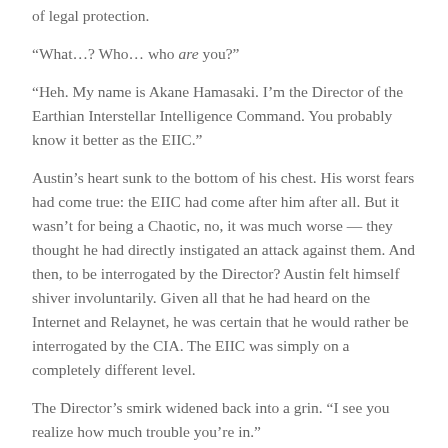of legal protection.
“What…? Who… who are you?”
“Heh. My name is Akane Hamasaki. I’m the Director of the Earthian Interstellar Intelligence Command. You probably know it better as the EIIC.”
Austin’s heart sunk to the bottom of his chest. His worst fears had come true: the EIIC had come after him after all. But it wasn’t for being a Chaotic, no, it was much worse — they thought he had directly instigated an attack against them. And then, to be interrogated by the Director? Austin felt himself shiver involuntarily. Given all that he had heard on the Internet and Relaynet, he was certain that he would rather be interrogated by the CIA. The EIIC was simply on a completely different level.
The Director’s smirk widened back into a grin. “I see you realize how much trouble you’re in.”